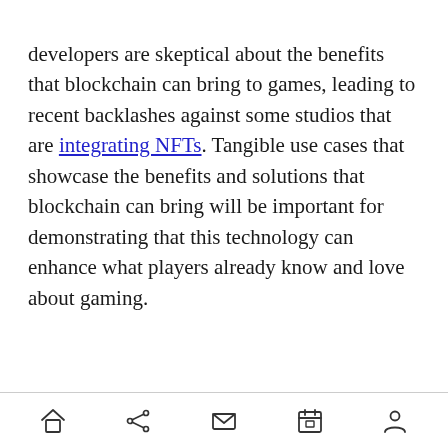developers are skeptical about the benefits that blockchain can bring to games, leading to recent backlashes against some studios that are integrating NFTs. Tangible use cases that showcase the benefits and solutions that blockchain can bring will be important for demonstrating that this technology can enhance what players already know and love about gaming.
[home] [share] [mail] [calendar] [person]